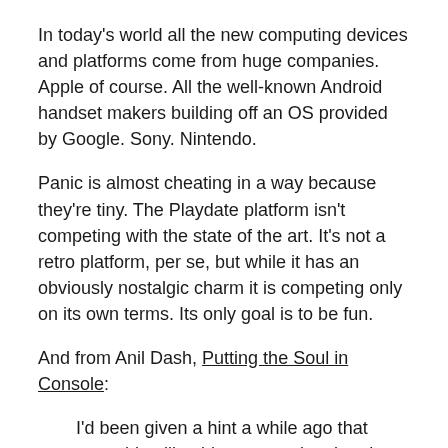In today's world all the new computing devices and platforms come from huge companies. Apple of course. All the well-known Android handset makers building off an OS provided by Google. Sony. Nintendo.
Panic is almost cheating in a way because they're tiny. The Playdate platform isn't competing with the state of the art. It's not a retro platform, per se, but while it has an obviously nostalgic charm it is competing only on its own terms. Its only goal is to be fun.
And from Anil Dash, Putting the Soul in Console:
I'd been given a hint a while ago that something like this was coming, but the final execution is even more delightful than I'd imagined it might be. (That